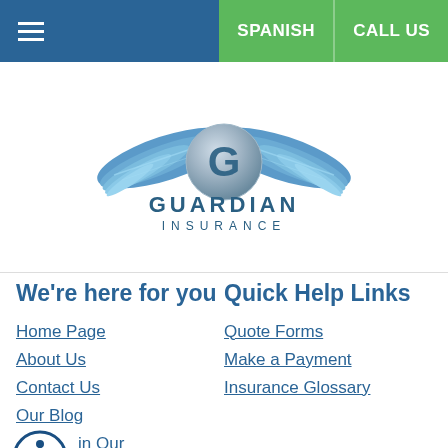≡  SPANISH  CALL US
[Figure (logo): Guardian Insurance logo with eagle wings and stylized G, text GUARDIAN INSURANCE below]
We're here for you
Home Page
About Us
Contact Us
Our Blog
Join Our Newsletter
Refer A Friend
Quick Help Links
Quote Forms
Make a Payment
Insurance Glossary